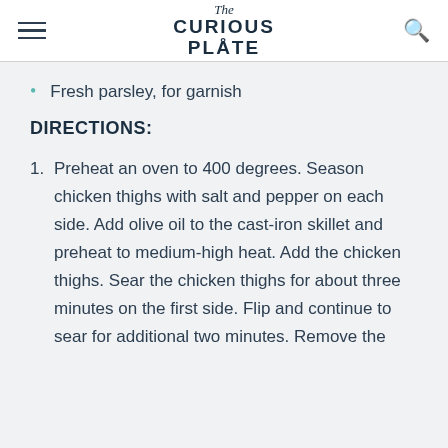The Curious Plate
Fresh parsley, for garnish
DIRECTIONS:
Preheat an oven to 400 degrees. Season chicken thighs with salt and pepper on each side. Add olive oil to the cast-iron skillet and preheat to medium-high heat. Add the chicken thighs. Sear the chicken thighs for about three minutes on the first side. Flip and continue to sear for additional two minutes. Remove the